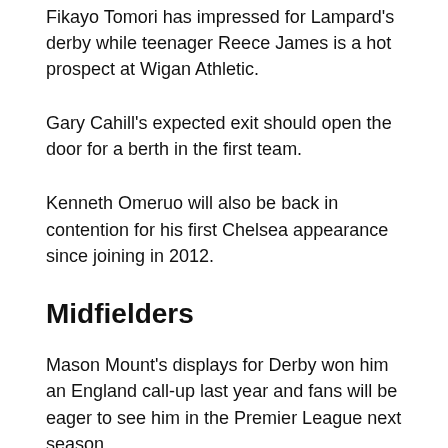Fikayo Tomori has impressed for Lampard's derby while teenager Reece James is a hot prospect at Wigan Athletic.
Gary Cahill's expected exit should open the door for a berth in the first team.
Kenneth Omeruo will also be back in contention for his first Chelsea appearance since joining in 2012.
Midfielders
Mason Mount's displays for Derby won him an England call-up last year and fans will be eager to see him in the Premier League next season.
And could the transfer ban lead to the second coming of Charly Musonda, of whom big things were expected?